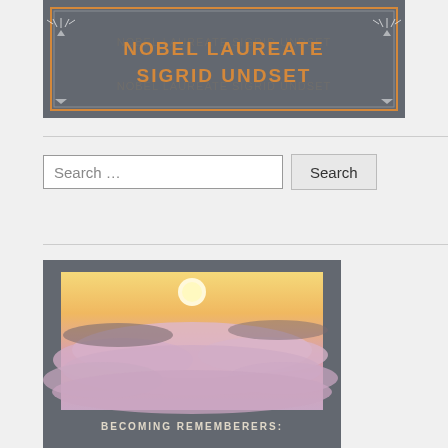[Figure (logo): Nobel Laureate Sigrid Undset banner with decorative border on dark gray background]
Search …
[Figure (photo): Sunrise or sunset over a sea of pink and purple clouds, aerial view]
BECOMING REMEMBERERS: